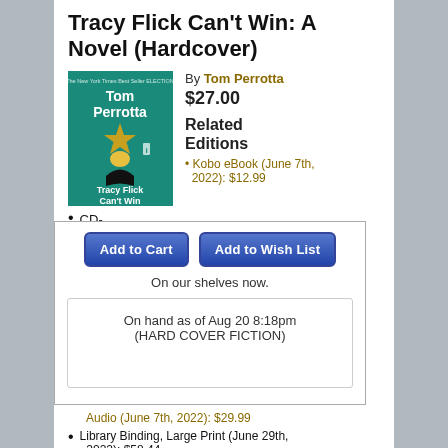Tracy Flick Can't Win: A Novel (Hardcover)
[Figure (photo): Book cover of Tracy Flick Can't Win by Tom Perrotta, teal background with a gold star and a figure with blonde hair]
By Tom Perrotta
$27.00
Related Editions
Kobo eBook (June 7th, 2022): $12.99
CD-
Add to Cart
Add to Wish List
On our shelves now.
On hand as of Aug 20 8:18pm (HARD COVER FICTION)
Audio (June 7th, 2022): $29.99
Library Binding, Large Print (June 29th, 2022): $58.44
June 2022 Indie Next List